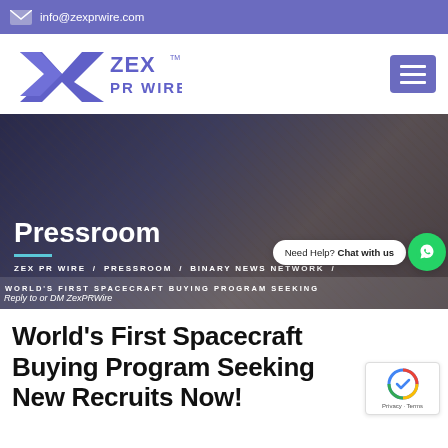info@zexprwire.com
[Figure (logo): ZEX PR WIRE logo with stylized X icon in purple/blue]
[Figure (photo): Background photo of people working at a table with papers and documents, overlaid with dark tint]
Pressroom
ZEX PR WIRE / PRESSROOM / BINARY NEWS NETWORK /
WORLD'S FIRST SPACECRAFT BUYING PROGRAM SEEKING
Reply to or DM ZexPRWire
Need Help? Chat with us
World's First Spacecraft Buying Program Seeking New Recruits Now!